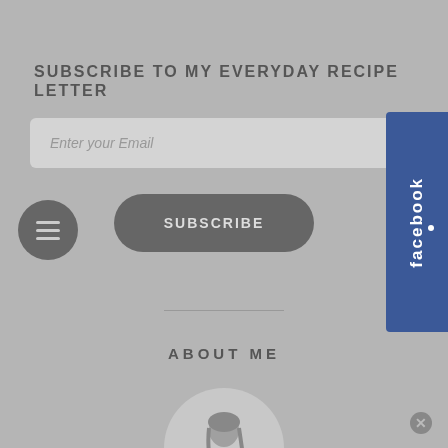SUBSCRIBE TO MY EVERYDAY RECIPE LETTER
Enter your Email
SUBSCRIBE
[Figure (screenshot): Hamburger menu button (three horizontal lines in a dark circle)]
[Figure (screenshot): Facebook social tab on the right side]
ABOUT ME
[Figure (photo): Circular profile photo of a woman]